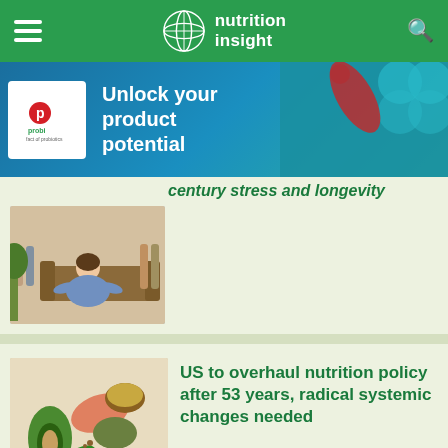nutrition insight
[Figure (logo): Probi probiotic brand advertisement banner with text: Unlock your product potential]
century stress and longevity
[Figure (photo): Woman meditating in yoga pose on living room floor with family in background]
[Figure (photo): Heart-shaped arrangement of healthy foods including avocado, salmon, tomatoes, nuts, legumes and vegetables]
US to overhaul nutrition policy after 53 years, radical systemic changes needed